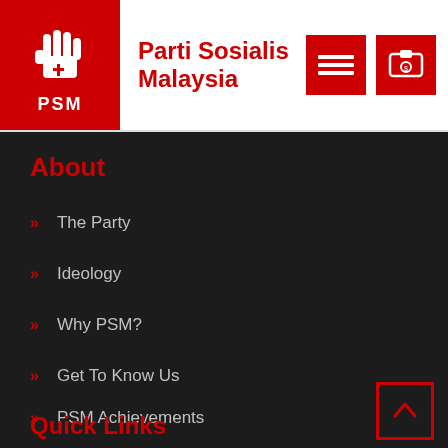[Figure (logo): PSM logo: red background with white raised fist and 'PSM' text below]
Parti Sosialis Malaysia
[Figure (other): Hamburger menu icon button (red background)]
[Figure (other): Currency/wallet icon button (red background)]
About
The Party
Ideology
Why PSM?
Get To Know Us
PSM Achievements
Quick Links